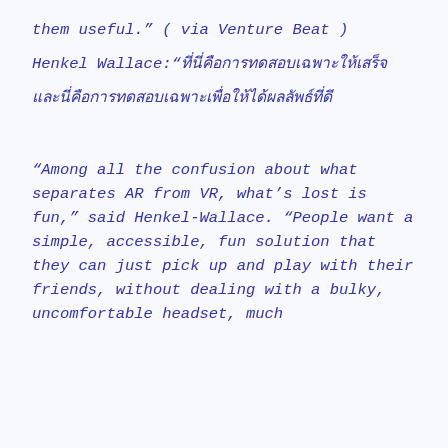them useful." ( via Venture Beat )
Henkel Wallace:"[non-Latin text characters]"
"Among all the confusion about what separates AR from VR, what’s lost is fun," said Henkel-Wallace. “People want a simple, accessible, fun solution that they can just pick up and play with their friends, without dealing with a bulky, uncomfortable headset, much